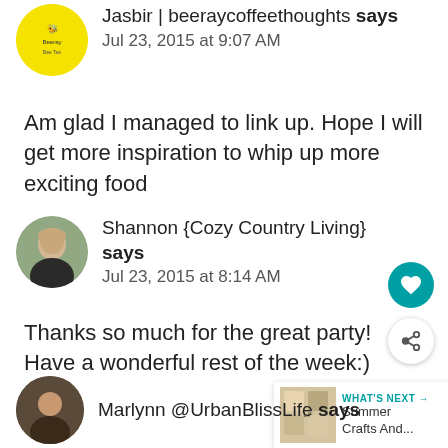Jasbir | beeraycoffeethoughts says
Jul 23, 2015 at 9:07 AM
Am glad I managed to link up. Hope I will get more inspiration to whip up more exciting food
Shannon {Cozy Country Living} says
Jul 23, 2015 at 8:14 AM
Thanks so much for the great party! Have a wonderful rest of the week:)
[Figure (other): Heart favorite button (teal circle with heart icon)]
[Figure (other): Share button (white circle with share icon)]
[Figure (other): What's Next widget with thumbnail and text: Summer Crafts And...]
Marlynn @UrbanBlissLife says